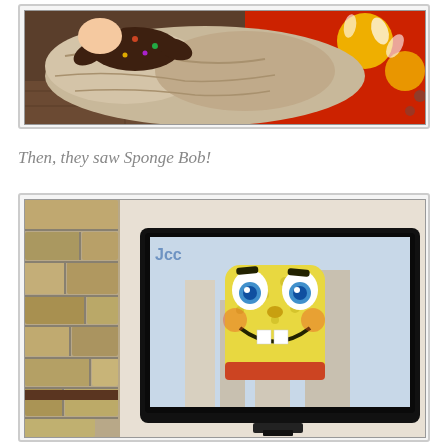[Figure (photo): Baby lying on a puffy beige coat/jacket on a colorful red, yellow floral rug on a wooden floor, wearing dark brown patterned outfit]
Then, they saw Sponge Bob!
[Figure (photo): A flat-screen TV showing SpongeBob SquarePants balloon from Macy's Thanksgiving Day Parade, in a living room with stone fireplace visible on the left]